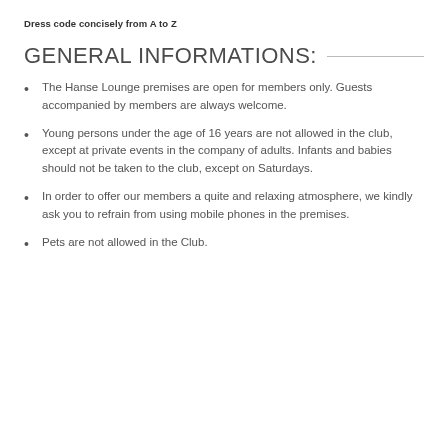Dress code concisely from A to Z
GENERAL INFORMATIONS:
The Hanse Lounge premises are open for members only. Guests accompanied by members are always welcome.
Young persons under the age of 16 years are not allowed in the club, except at private events in the company of adults. Infants and babies should not be taken to the club, except on Saturdays.
In order to offer our members a quite and relaxing atmosphere, we kindly ask you to refrain from using mobile phones in the premises.
Pets are not allowed in the Club.